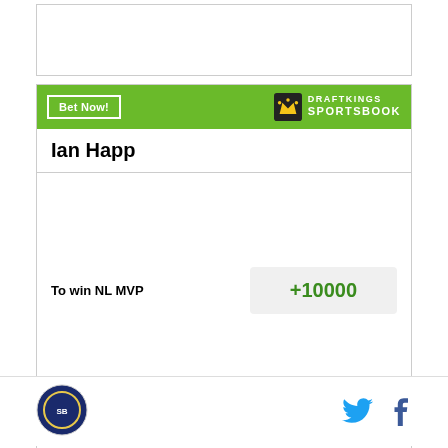[Figure (other): Empty white box with border at top of page]
[Figure (infographic): DraftKings Sportsbook betting widget showing Ian Happ NL MVP odds of +10000]
Ian Happ
To win NL MVP
+10000
Odds/Lines subject to change. See draftkings.com for details.
[Figure (logo): Site logo circular badge at bottom left]
[Figure (logo): Twitter bird icon and Facebook f icon at bottom right]